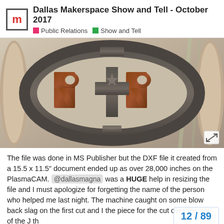Dallas Makerspace Show and Tell - October 2017
Public Relations  Show and Tell
[Figure (photo): A metal plasma-cut sign showing 'RR' letters inside an oval frame, with rusty brown patina on a light fabric background.]
The file was done in MS Publisher but the DXF file it created from a 15.5 x 11.5" document ended up as over 28,000 inches on the PlasmaCAM. @dallasmagna was a HUGE help in resizing the file and I must apologize for forgetting the name of the person who helped me last night. The machine caught on some blow back slag on the first cut and I the piece for the cut over the top of the J th
12 / 89